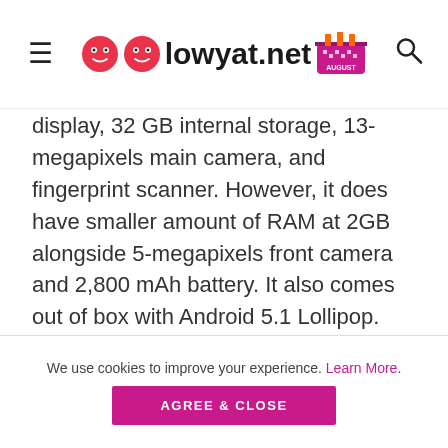lowyat.net
display, 32 GB internal storage, 13-megapixels main camera, and fingerprint scanner. However, it does have smaller amount of RAM at 2GB alongside 5-megapixels front camera and 2,800 mAh battery. It also comes out of box with Android 5.1 Lollipop.
We use cookies to improve your experience. Learn More. AGREE & CLOSE